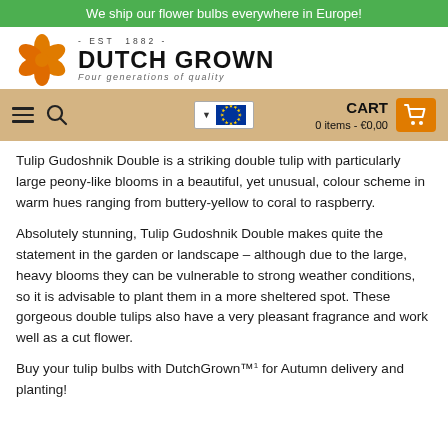We ship our flower bulbs everywhere in Europe!
[Figure (logo): Dutch Grown logo with orange flower icon, EST 1882 text, DUTCH GROWN title, and 'Four generations of quality' subtitle]
[Figure (other): Navigation bar with hamburger menu, search icon, EU flag dropdown, CART showing 0 items - €0,00 and orange cart basket icon]
Tulip Gudoshnik Double is a striking double tulip with particularly large peony-like blooms in a beautiful, yet unusual, colour scheme in warm hues ranging from buttery-yellow to coral to raspberry.
Absolutely stunning, Tulip Gudoshnik Double makes quite the statement in the garden or landscape – although due to the large, heavy blooms they can be vulnerable to strong weather conditions, so it is advisable to plant them in a more sheltered spot. These gorgeous double tulips also have a very pleasant fragrance and work well as a cut flower.
Buy your tulip bulbs with DutchGrown™¹ for Autumn delivery and planting!